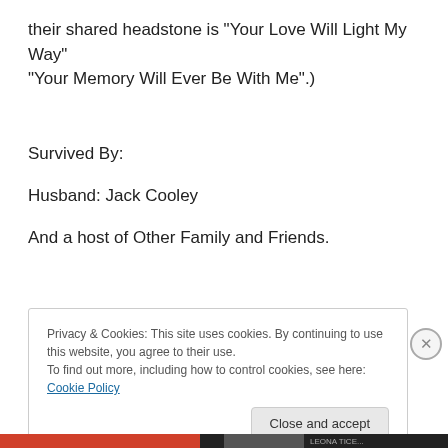their shared headstone is "Your Love Will Light My Way" "Your Memory Will Ever Be With Me".)
Survived By:
Husband: Jack Cooley
And a host of Other Family and Friends.
Privacy & Cookies: This site uses cookies. By continuing to use this website, you agree to their use.
To find out more, including how to control cookies, see here: Cookie Policy
Close and accept